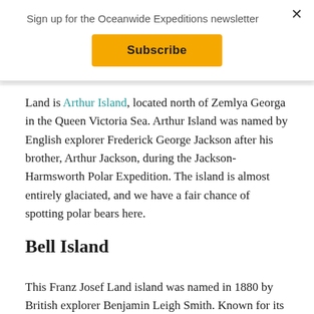Sign up for the Oceanwide Expeditions newsletter
Subscribe
Land is Arthur Island, located north of Zemlya Georga in the Queen Victoria Sea. Arthur Island was named by English explorer Frederick George Jackson after his brother, Arthur Jackson, during the Jackson-Harmsworth Polar Expedition. The island is almost entirely glaciated, and we have a fair chance of spotting polar bears here.
Bell Island
This Franz Josef Land island was named in 1880 by British explorer Benjamin Leigh Smith. Known for its bell-shaped mountain, Bell Island lies in the